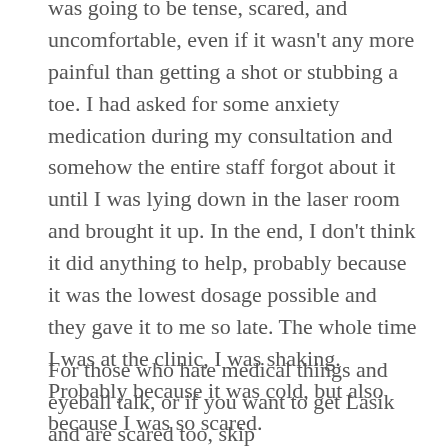was going to be tense, scared, and uncomfortable, even if it wasn't any more painful than getting a shot or stubbing a toe. I had asked for some anxiety medication during my consultation and somehow the entire staff forgot about it until I was lying down in the laser room and brought it up. In the end, I don't think it did anything to help, probably because it was the lowest dosage possible and they gave it to me so late. The whole time I was at the clinic, I was shaking. Probably because it was cold, but also because I was so scared.
For those who hate medical things and eyeball talk, or if you want to get Lasik and are scared too, skip